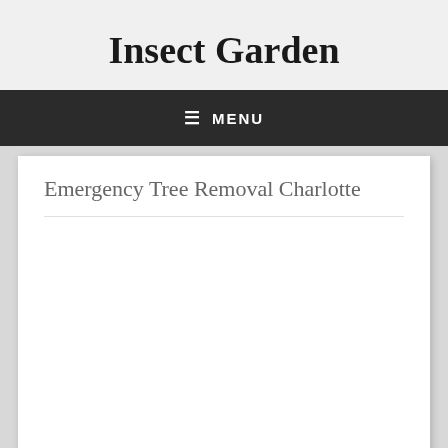Insect Garden
≡ MENU
Emergency Tree Removal Charlotte